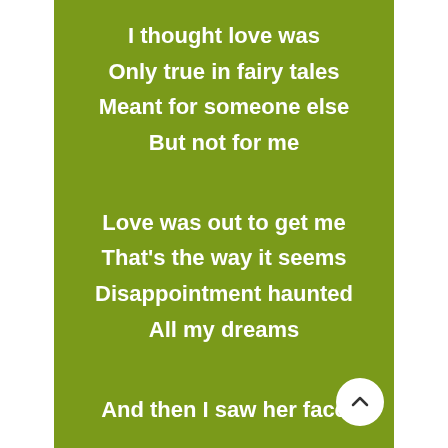I thought love was
Only true in fairy tales
Meant for someone else
But not for me

Love was out to get me
That's the way it seems
Disappointment haunted
All my dreams

And then I saw her face